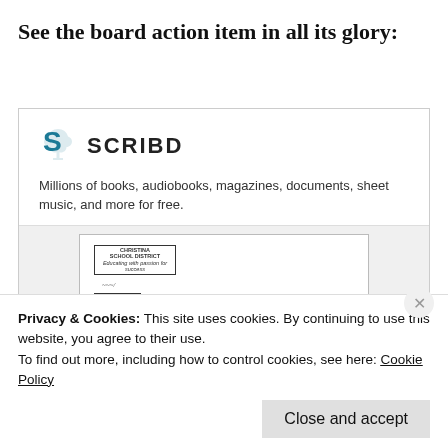See the board action item in all its glory:
[Figure (screenshot): Scribd embedded document preview showing the Christina School District board action item RFP #CHR-2016-12 Formative Assessment, with Scribd logo and tagline 'Millions of books, audiobooks, magazines, documents, sheet music, and more for free.']
Privacy & Cookies: This site uses cookies. By continuing to use this website, you agree to their use.
To find out more, including how to control cookies, see here: Cookie Policy
Close and accept